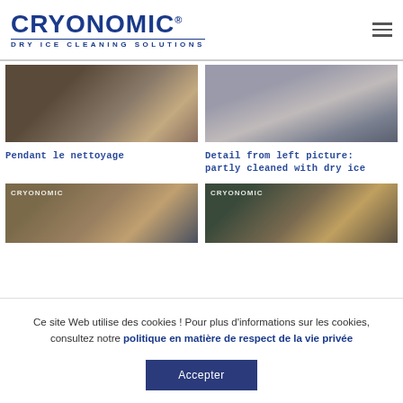[Figure (logo): Cryonomic Dry Ice Cleaning Solutions logo — bold blue text with registered trademark symbol and subtitle]
[Figure (photo): Close-up photo of a toothed belt or gear ring being cleaned, dark metallic surface — Pendant le nettoyage]
[Figure (photo): Detail from left picture showing partly cleaned surface with dry ice]
Pendant le nettoyage
Detail from left picture: partly cleaned with dry ice
[Figure (photo): Cryonomic branded photo of toothed industrial belt, brown/gold metallic]
[Figure (photo): Cryonomic branded photo of dark industrial gear/chain components]
Ce site Web utilise des cookies ! Pour plus d'informations sur les cookies, consultez notre politique en matière de respect de la vie privée
Accepter